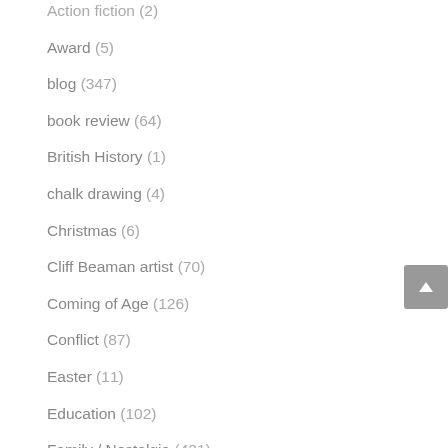Action fiction (2)
Award (5)
blog (347)
book review (64)
British History (1)
chalk drawing (4)
Christmas (6)
Cliff Beaman artist (70)
Coming of Age (126)
Conflict (87)
Easter (11)
Education (102)
Family / Nostalgia (421)
Folk Songs of the South (8)